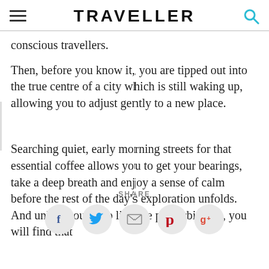TRAVELLER
conscious travellers.
Then, before you know it, you are tipped out into the true centre of a city which is still waking up, allowing you to adjust gently to a new place.
Searching quiet, early morning streets for that essential coffee allows you to get your bearings, take a deep breath and enjoy a sense of calm before the rest of the day's exploration unfolds. And unless you sleep like the proverbial log, you will find that
SHARE